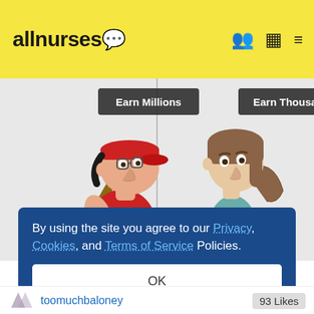[Figure (logo): allnurses logo with speech bubble icons in yellow header bar]
[Figure (illustration): Two-panel cartoon: left panel shows a baseball player holding a bat with label 'Earn Millions', right panel shows a nurse/woman with ponytail with label 'Earn Thousands'. Both on grey background.]
By using the site you agree to our Privacy, Cookies, and Terms of Service Policies.
OK
toomuchbaloney
93 Likes